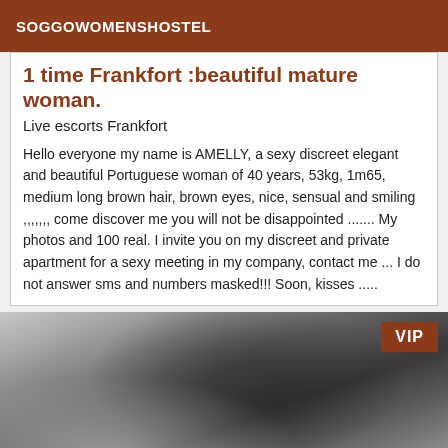SOGGOWOMENSHOSTEL
1 time Frankfort :beautiful mature woman.
Live escorts Frankfort
Hello everyone my name is AMELLY, a sexy discreet elegant and beautiful Portuguese woman of 40 years, 53kg, 1m65, medium long brown hair, brown eyes, nice, sensual and smiling ,,,,,,, come discover me you will not be disappointed ....... My photos and 100 real. I invite you on my discreet and private apartment for a sexy meeting in my company, contact me ... I do not answer sms and numbers masked!!! Soon, kisses .....
[Figure (photo): Black and white photo of a person lying down, partially visible, with a VIP badge overlay in the top right corner]